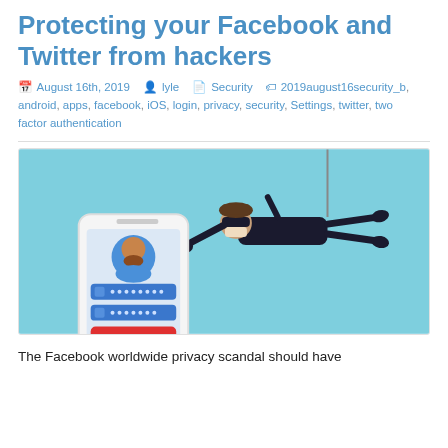Protecting your Facebook and Twitter from hackers
August 16th, 2019   lyle   Security   2019august16security_b, android, apps, facebook, iOS, login, privacy, security, Settings, twitter, two factor authentication
[Figure (illustration): Illustration of a hacker dressed in black hanging from a rope, reaching toward a smartphone login screen with username and password fields and a red 'SIGN IN' button.]
The Facebook worldwide privacy scandal should have